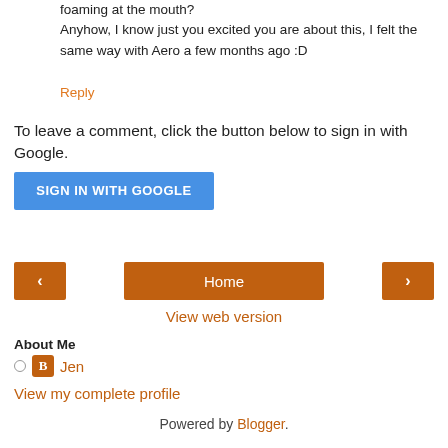foaming at the mouth?
Anyhow, I know just you excited you are about this, I felt the same way with Aero a few months ago :D
Reply
To leave a comment, click the button below to sign in with Google.
[Figure (other): SIGN IN WITH GOOGLE button (blue)]
[Figure (other): Navigation bar with back arrow, Home button, and forward arrow in orange/brown colors]
View web version
About Me
Jen
View my complete profile
Powered by Blogger.